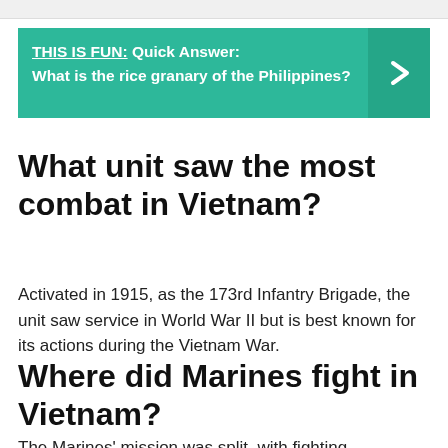THIS IS FUN: Quick Answer: What is the rice granary of the Philippines?
What unit saw the most combat in Vietnam?
Activated in 1915, as the 173rd Infantry Brigade, the unit saw service in World War II but is best known for its actions during the Vietnam War.
Where did Marines fight in Vietnam?
The Marines' mission was split, with fighting